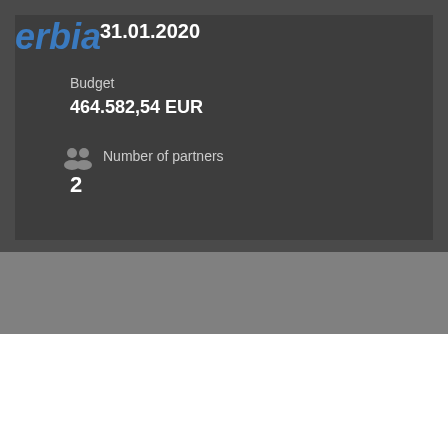31.01.2020
Budget
464.582,54 EUR
Number of partners
2
About
Partners
News & Events